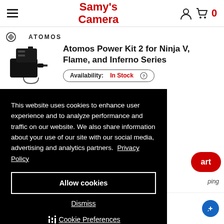Samy's Camera
[Figure (logo): Atomos brand logo and text]
Atomos Power Kit 2 for Ninja V, Flame, and Inferno Series
Availability: In Stock
This website uses cookies to enhance user experience and to analyze performance and traffic on our website. We also share information about your use of our site with our social media, advertising and analytics partners. Privacy Policy
Allow cookies
Dismiss
Cookie Preferences
x HDMI ng Dock for Ninja V